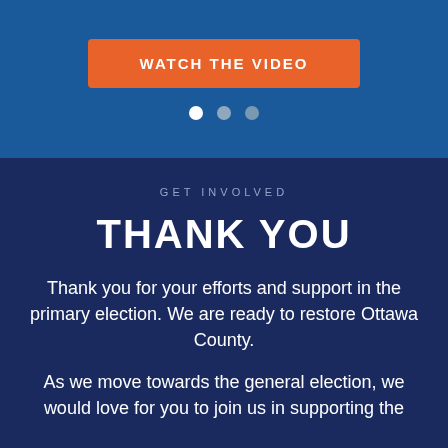[Figure (other): Orange button labeled WATCH THE VIDEO on a blue background, with three navigation dots below (white, gray, gray)]
GET INVOLVED
THANK YOU
Thank you for your efforts and support in the primary election. We are ready to restore Ottawa County.
As we move towards the general election, we would love for you to join us in supporting the